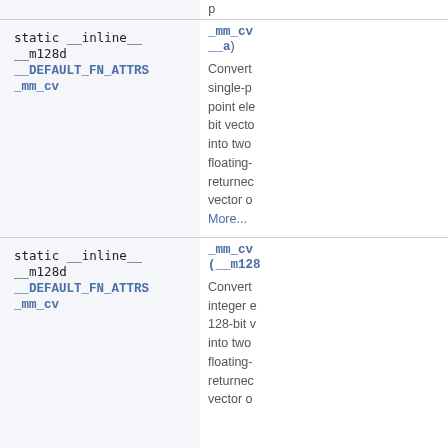| Signature | Description |
| --- | --- |
| static __inline__ __m128d __DEFAULT_FN_ATTRS _mm_cv...__a) | Convert single-point floating-point elements in a 128-bit vector into two floating-point values returned in a vector o... More... |
| static __inline__ __m128d __DEFAULT_FN_ATTRS _mm_cv...(__m128... | Convert integer elements in a 128-bit vector into two floating-point values returned in a vector o... |